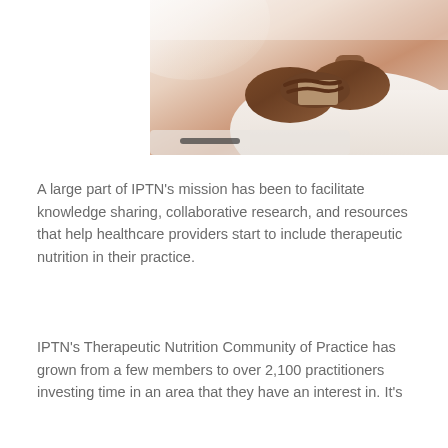[Figure (photo): A person in a white blouse holding a credit card or similar small card in their hands, seated at a desk, with bright window light in the background.]
A large part of IPTN's mission has been to facilitate knowledge sharing, collaborative research, and resources that help healthcare providers start to include therapeutic nutrition in their practice.
IPTN's Therapeutic Nutrition Community of Practice has grown from a few members to over 2,100 practitioners investing time in an area that they have an interest in. It's